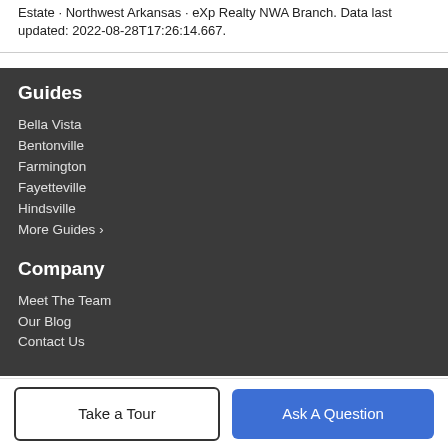Estate · Northwest Arkansas · eXp Realty NWA Branch. Data last updated: 2022-08-28T17:26:14.667.
Guides
Bella Vista
Bentonville
Farmington
Fayetteville
Hindsville
More Guides >
Company
Meet The Team
Our Blog
Contact Us
Take a Tour
Ask A Question